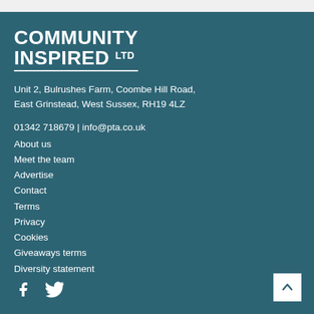[Figure (logo): Community Inspired Ltd logo — bold white text on teal background with underline]
Unit 2, Bulrushes Farm, Coombe Hill Road, East Grinstead, West Sussex, RH19 4LZ
01342 718679 | info@pta.co.uk
About us
Meet the team
Advertise
Contact
Terms
Privacy
Cookies
Giveaways terms
Diversity statement
[Figure (illustration): Social media icons: Facebook and Twitter in white on teal]